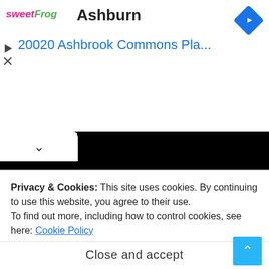[Figure (logo): sweetFrog logo — 'sweet' in pink italic, 'Frog' in green italic]
Ashburn
20020 Ashbrook Commons Pla...
Contact
Privacy Policy
Advertise
Support
Privacy & Cookies: This site uses cookies. By continuing to use this website, you agree to their use.
To find out more, including how to control cookies, see here: Cookie Policy
Close and accept